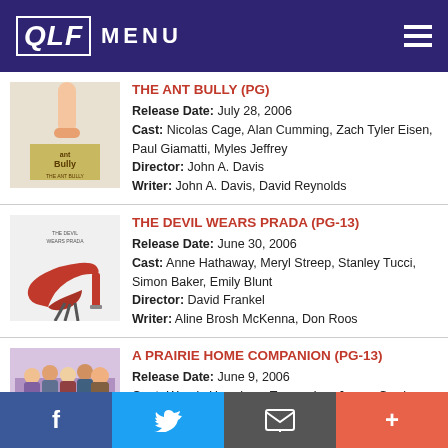QLF MENU
THE ANT BULLY (PG)
Release Date: July 28, 2006
Cast: Nicolas Cage, Alan Cumming, Zach Tyler Eisen, Paul Giamatti, Myles Jeffrey
Director: John A. Davis
Writer: John A. Davis, David Reynolds
THE DEVIL WEARS PRADA (PG-13)
Release Date: June 30, 2006
Cast: Anne Hathaway, Meryl Streep, Stanley Tucci, Simon Baker, Emily Blunt
Director: David Frankel
Writer: Aline Brosh McKenna, Don Roos
A PRAIRIE HOME COMPANION (PG-13)
Release Date: June 9, 2006
Cast: Woody Harrelson, Tommy Lee Jones, Garrison Keillor, Kevin Kline, Lindsay Lohan
f  Twitter  Email  +